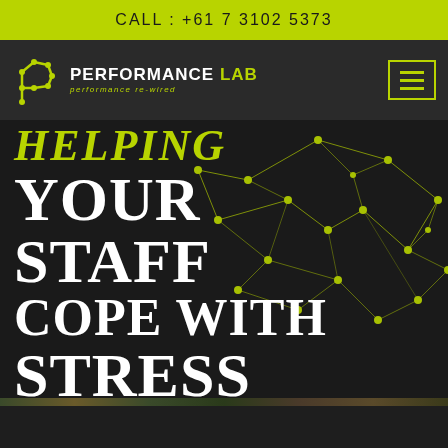CALL : +61 7 3102 5373
[Figure (logo): Performance Lab logo with green circuit-style P icon, white and green text 'PERFORMANCE LAB', tagline 'performance re-wired']
[Figure (illustration): Yellow-green network/node graph on dark background — interconnected dots and lines forming a geometric mesh]
HELPING YOUR STAFF COPE WITH STRESS